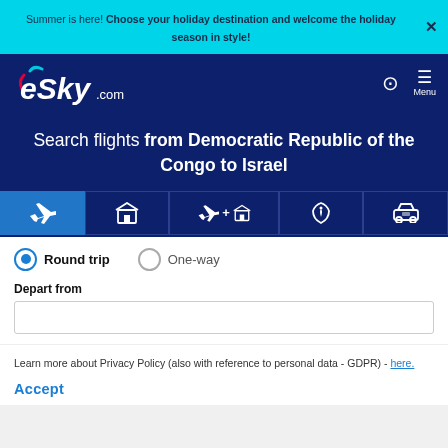Summer is here! Choose your holiday destination and welcome the holiday season in style!
[Figure (logo): eSky.com logo in white on dark blue navbar]
Search flights from Democratic Republic of the Congo to Israel
[Figure (infographic): Five service tabs: flights (active), hotel, flight+hotel, insurance, car rental]
Round trip (selected) | One-way
Depart from
Learn more about Privacy Policy (also with reference to personal data - GDPR) - here.
Accept